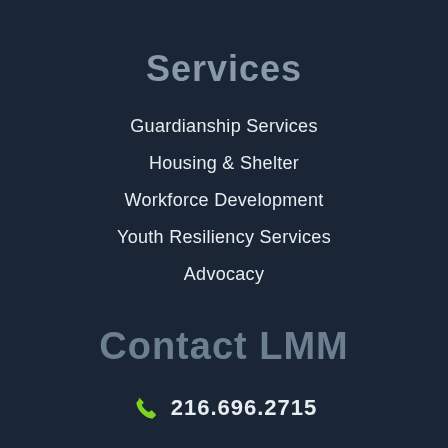Services
Guardianship Services
Housing & Shelter
Workforce Development
Youth Resiliency Services
Advocacy
Contact LMM
216.696.2715